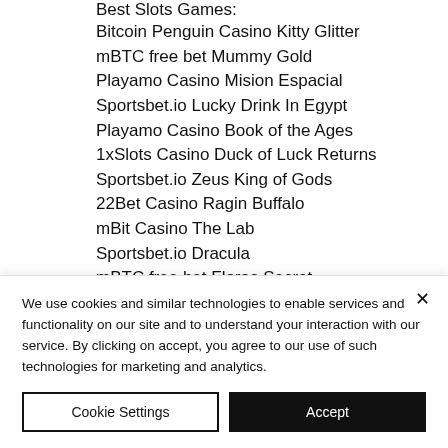Best Slots Games:
Bitcoin Penguin Casino Kitty Glitter
mBTC free bet Mummy Gold
Playamo Casino Mision Espacial
Sportsbet.io Lucky Drink In Egypt
Playamo Casino Book of the Ages
1xSlots Casino Duck of Luck Returns
Sportsbet.io Zeus King of Gods
22Bet Casino Ragin Buffalo
mBit Casino The Lab
Sportsbet.io Dracula
mBTC free bet Floras Secret
Bitcoin Penguin Casino The Legend Of Nezha
We use cookies and similar technologies to enable services and functionality on our site and to understand your interaction with our service. By clicking on accept, you agree to our use of such technologies for marketing and analytics.